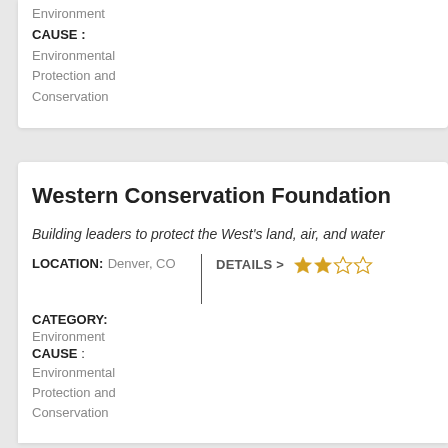Environment
CAUSE :
Environmental Protection and Conservation
Western Conservation Foundation
Building leaders to protect the West's land, air, and water
LOCATION: Denver, CO
CATEGORY: Environment
CAUSE : Environmental Protection and Conservation
DETAILS > ★★☆☆